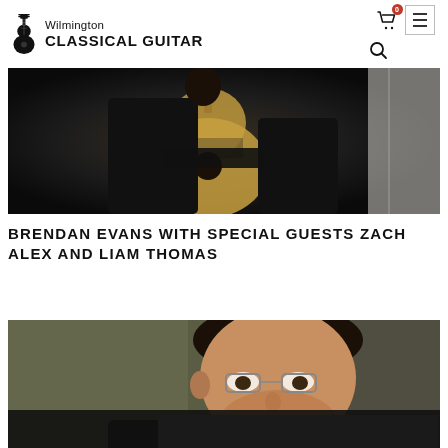Wilmington CLASSICAL GUITAR
[Figure (photo): Person in black clothing holding a classical guitar, viewed from the back/side, dark background]
BRENDAN EVANS WITH SPECIAL GUESTS ZACH ALEX AND LIAM THOMAS
[Figure (photo): Close-up of a man with glasses looking down, playing guitar, slightly blurred background]